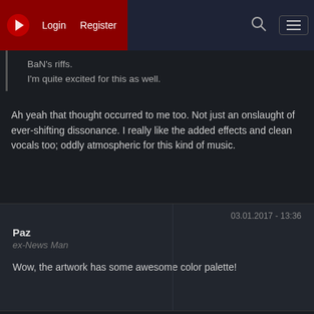Login  Register
BaN's riffs.
I'm quite excited for this as well.
Ah yeah that thought occurred to me too. Not just an onslaught of ever-shifting dissonance. I really like the added effects and clean vocals too; oddly atmospheric for this kind of music.
03.01.2017 - 13:36
Paz
ex-News Man
Wow, the artwork has some awesome color palette!
03.01.2017 - 13:38
!J.O.O.E.!
Account deleted